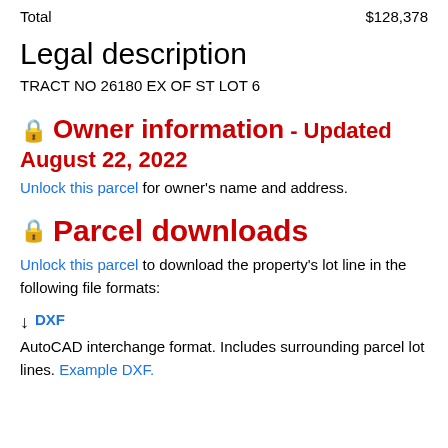Total    $128,378
Legal description
TRACT NO 26180 EX OF ST LOT 6
🔒 Owner information - Updated August 22, 2022
Unlock this parcel for owner's name and address.
🔒 Parcel downloads
Unlock this parcel to download the property's lot line in the following file formats:
↓ DXF AutoCAD interchange format. Includes surrounding parcel lot lines. Example DXF.